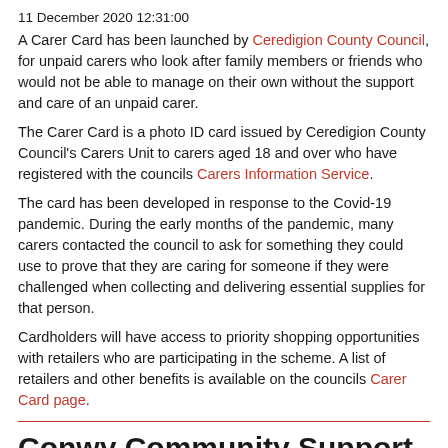11 December 2020 12:31:00
A Carer Card has been launched by Ceredigion County Council, for unpaid carers who look after family members or friends who would not be able to manage on their own without the support and care of an unpaid carer.
The Carer Card is a photo ID card issued by Ceredigion County Council's Carers Unit to carers aged 18 and over who have registered with the councils Carers Information Service.
The card has been developed in response to the Covid-19 pandemic. During the early months of the pandemic, many carers contacted the council to ask for something they could use to prove that they are caring for someone if they were challenged when collecting and delivering essential supplies for that person.
Cardholders will have access to priority shopping opportunities with retailers who are participating in the scheme. A list of retailers and other benefits is available on the councils Carer Card page.
Conwy Community Support Service (Conwy CBC)
06 October 2020 08:46:00